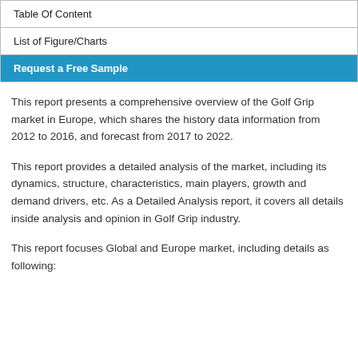Table Of Content
List of Figure/Charts
Request a Free Sample
This report presents a comprehensive overview of the Golf Grip market in Europe, which shares the history data information from 2012 to 2016, and forecast from 2017 to 2022.
This report provides a detailed analysis of the market, including its dynamics, structure, characteristics, main players, growth and demand drivers, etc. As a Detailed Analysis report, it covers all details inside analysis and opinion in Golf Grip industry.
This report focuses Global and Europe market, including details as following: